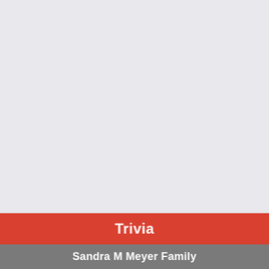[Figure (other): Large light gray background area filling most of the page]
Trivia
Sandra M Meyer Family